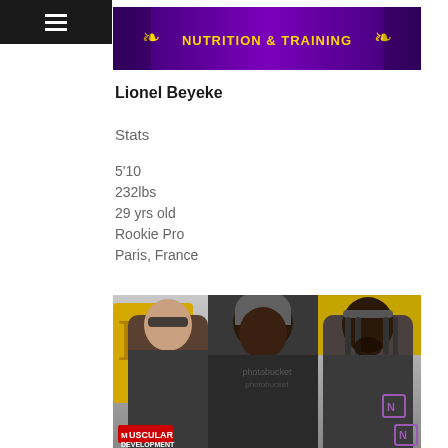≡
[Figure (photo): Banner image showing NUTRITION & TRAINING text on purple background with gold wing decorations]
Lionel Beyeke
Stats
5'10
232lbs
29 yrs old
Rookie Pro
Paris, France
[Figure (photo): Photo of three men standing together in dark athletic wear, with 'D's' signage behind them. Muscular Development and another logo visible at bottom.]